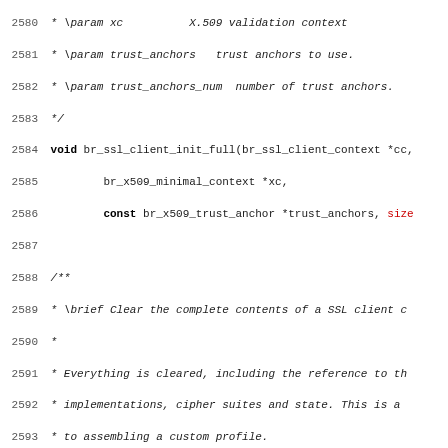Code documentation snippet showing C API for BearSSL library, lines 2580-2611, including function declarations for br_ssl_client_init_full, br_ssl_client_zero, and br_ssl_client_set_client_certificate